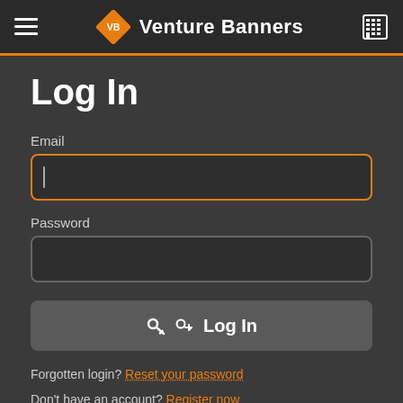Venture Banners
Log In
Email
Password
Log In
Forgotten login? Reset your password
Don't have an account? Register now